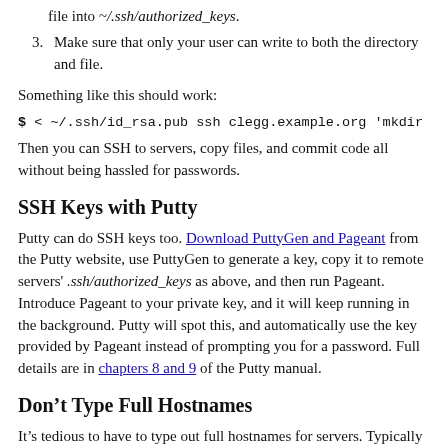file into ~/.ssh/authorized_keys.
3. Make sure that only your user can write to both the directory and file.
Something like this should work:
$ < ~/.ssh/id_rsa.pub ssh clegg.example.org 'mkdir -p .ss
Then you can SSH to servers, copy files, and commit code all without being hassled for passwords.
SSH Keys with Putty
Putty can do SSH keys too. Download PuttyGen and Pageant from the Putty website, use PuttyGen to generate a key, copy it to remote servers' .ssh/authorized_keys as above, and then run Pageant. Introduce Pageant to your private key, and it will keep running in the background. Putty will spot this, and automatically use the key provided by Pageant instead of prompting you for a password. Full details are in chapters 8 and 9 of the Putty manual.
Don’t Type Full Hostnames
It’s tedious to have to type out full hostnames for servers. Typically a group of servers have hostnames which are subdomains of a